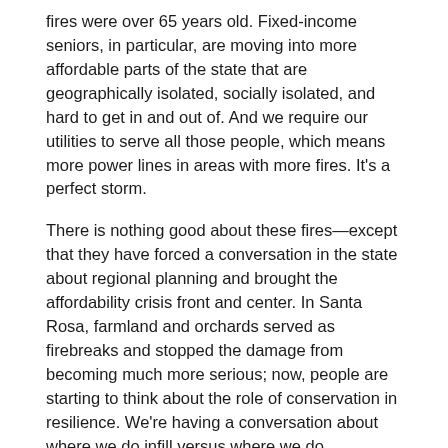fires were over 65 years old. Fixed-income seniors, in particular, are moving into more affordable parts of the state that are geographically isolated, socially isolated, and hard to get in and out of. And we require our utilities to serve all those people, which means more power lines in areas with more fires. It's a perfect storm.
There is nothing good about these fires—except that they have forced a conversation in the state about regional planning and brought the affordability crisis front and center. In Santa Rosa, farmland and orchards served as firebreaks and stopped the damage from becoming much more serious; now, people are starting to think about the role of conservation in resilience. We're having a conversation about where we do infill versus where we do conservation, and how to deal with these fire areas on a much larger scale. The question of where it does or doesn't make sense to build is coming into play on individual projects in a way that it hasn't before.
Recently, the Governor's Energy Strike Force released a plan that lays out the climate crisis, the issue of utilities and liability, and the threat that fires and climate impacts have on the goals Governor Brown put in place. For example, we're supposed to be working toward 100 percent renewable by some percent of the